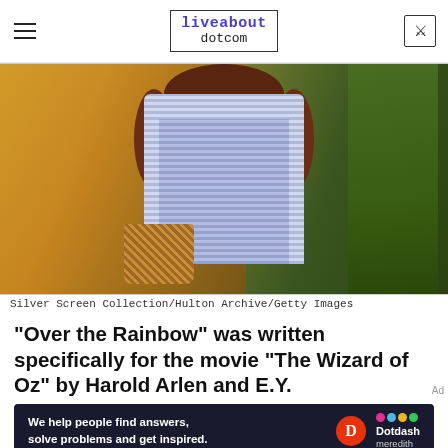liveabout dotcom
[Figure (photo): A person dressed as Dorothy from The Wizard of Oz, wearing a blue and white gingham dress with a white collar, with long dark hair, holding a wicker basket, standing in front of green corn stalks with a warm golden background.]
Silver Screen Collection/Hulton Archive/Getty Images
"Over the Rainbow" was written specifically for the movie "The Wizard of Oz" by Harold Arlen and E.Y.
Ad We help people find answers, solve problems and get inspired. Dotdash meredith